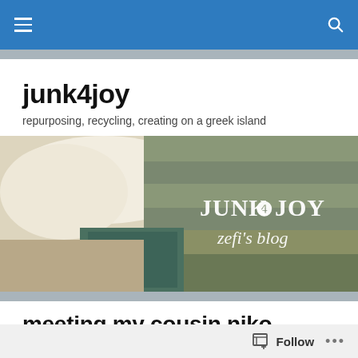Navigation bar with hamburger menu and search icon
junk4joy
repurposing, recycling, creating on a greek island
[Figure (photo): Blog banner image showing weathered wooden planks and peeling white plaster wall with text overlay 'JUNK4JOY zefi's blog']
meeting my cousin niko
[Figure (photo): Partially visible photo at bottom of page, wooden texture visible]
Follow button with icon and ellipsis menu